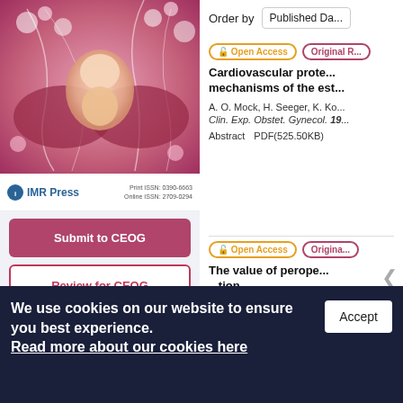[Figure (illustration): Journal cover image showing a fetus illustration with floral/botanical decorative elements in pink and purple tones]
IMR Press
Print ISSN: 0390-6663
Online ISSN: 2709-0294
Submit to CEOG
Review for CEOG
Apply for special issue
Order by  Published Da...
🔓 Open Access
Original R...
Cardiovascular prote... mechanisms of the est...
A. O. Mock, H. Seeger, K. Ko...
Clin. Exp. Obstet. Gynecol. 19...
Abstract    PDF(525.50KB)
🔓 Open Access
Origina...
The value of perope... ...tion
We use cookies on our website to ensure you best experience.
Read more about our cookies here
Accept